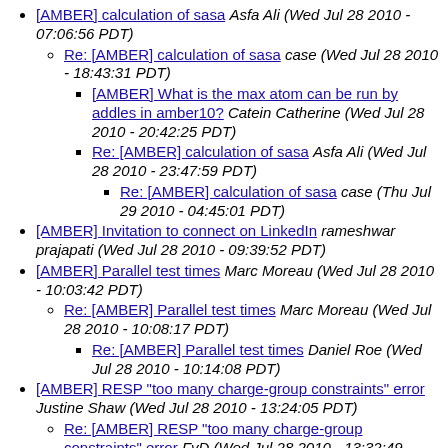[AMBER] calculation of sasa Asfa Ali (Wed Jul 28 2010 - 07:06:56 PDT)
Re: [AMBER] calculation of sasa case (Wed Jul 28 2010 - 18:43:31 PDT)
[AMBER] What is the max atom can be run by addles in amber10? Catein Catherine (Wed Jul 28 2010 - 20:42:25 PDT)
Re: [AMBER] calculation of sasa Asfa Ali (Wed Jul 28 2010 - 23:47:59 PDT)
Re: [AMBER] calculation of sasa case (Thu Jul 29 2010 - 04:45:01 PDT)
[AMBER] Invitation to connect on LinkedIn rameshwar prajapati (Wed Jul 28 2010 - 09:39:52 PDT)
[AMBER] Parallel test times Marc Moreau (Wed Jul 28 2010 - 10:03:42 PDT)
Re: [AMBER] Parallel test times Marc Moreau (Wed Jul 28 2010 - 10:08:17 PDT)
Re: [AMBER] Parallel test times Daniel Roe (Wed Jul 28 2010 - 10:14:08 PDT)
[AMBER] RESP "too many charge-group constraints" error Justine Shaw (Wed Jul 28 2010 - 13:24:05 PDT)
Re: [AMBER] RESP "too many charge-group constraints" error FyD (Wed Jul 28 2010 - 13:32:49 PDT)